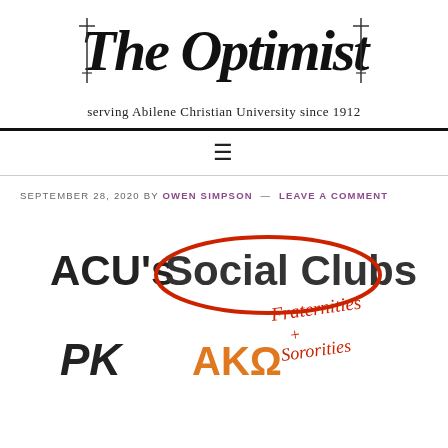The Optimist — serving Abilene Christian University since 1912
≡
SEPTEMBER 28, 2020 BY OWEN SIMPSON — LEAVE A COMMENT
[Figure (illustration): Hand-drawn style article illustration showing 'ACU's Social Clubs' with 'Social Clubs' crossed out in red and replaced with handwritten red text 'Fraternities + Sororities'. Below are partial Greek letters including what appears to 'PK' and 'AKΩ' in orange/dark colors.]